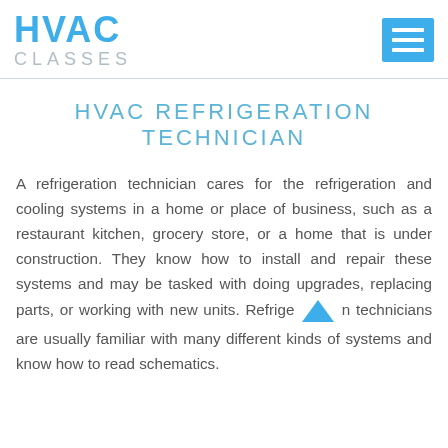HVAC CLASSES
HVAC REFRIGERATION TECHNICIAN
A refrigeration technician cares for the refrigeration and cooling systems in a home or place of business, such as a restaurant kitchen, grocery store, or a home that is under construction. They know how to install and repair these systems and may be tasked with doing upgrades, replacing parts, or working with new units. Refrigeration technicians are usually familiar with many different kinds of systems and know how to read schematics.